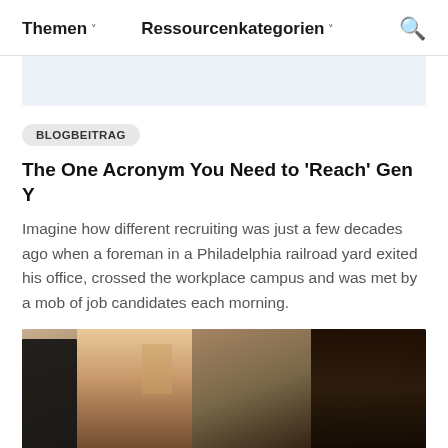Themen ∨   Ressourcenkategorien ∨   🔍
BLOGBEITRAG
The One Acronym You Need to 'Reach' Gen Y
Imagine how different recruiting was just a few decades ago when a foreman in a Philadelphia railroad yard exited his office, crossed the workplace campus and was met by a mob of job candidates each morning.
[Figure (photo): Office workplace photo showing people at work, including a woman in foreground and a person with dark hair in background]